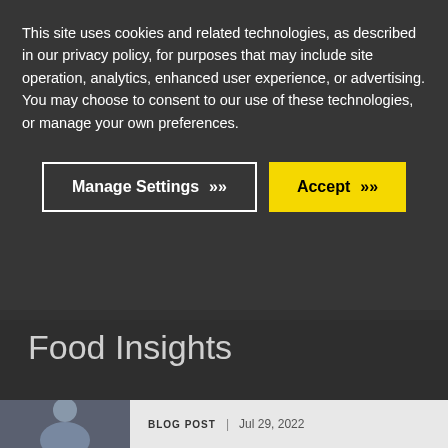This site uses cookies and related technologies, as described in our privacy policy, for purposes that may include site operation, analytics, enhanced user experience, or advertising. You may choose to consent to our use of these technologies, or manage your own preferences.
[Figure (screenshot): Cookie consent overlay with two buttons: 'Manage Settings' (outlined white button) and 'Accept' (yellow button), displayed over a website page showing an author avatar, 'Aptean Staff Writer' text, a 'Food Insights' section header, and a blog post card dated Jul 29, 2022]
Food Insights
BLOG POST | Jul 29, 2022